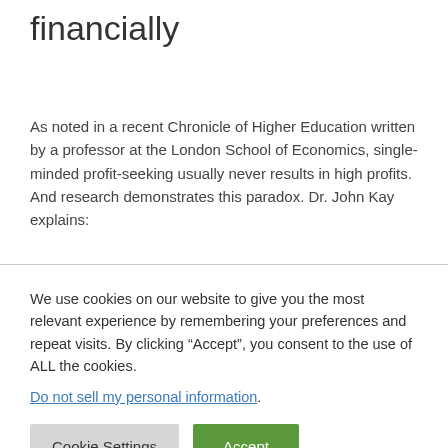financially
As noted in a recent Chronicle of Higher Education written by a professor at the London School of Economics, single-minded profit-seeking usually never results in high profits. And research demonstrates this paradox. Dr. John Kay explains:
We use cookies on our website to give you the most relevant experience by remembering your preferences and repeat visits. By clicking “Accept”, you consent to the use of ALL the cookies.
Do not sell my personal information.
Cookie Settings | Accept